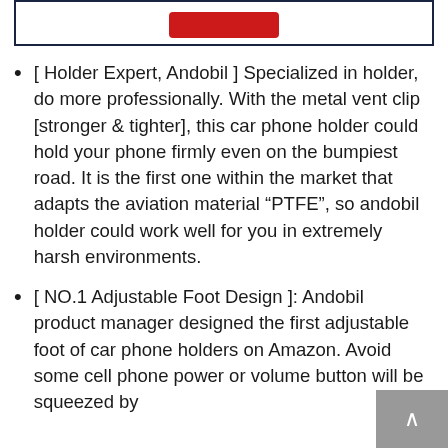[Figure (other): Top border box with a red button partially visible at top]
[ Holder Expert, Andobil ] Specialized in holder, do more professionally. With the metal vent clip [stronger & tighter], this car phone holder could hold your phone firmly even on the bumpiest road. It is the first one within the market that adapts the aviation material “PTFE”, so andobil holder could work well for you in extremely harsh environments.
[ NO.1 Adjustable Foot Design ]: Andobil product manager designed the first adjustable foot of car phone holders on Amazon. Avoid some cell phone power or volume button will be squeezed by